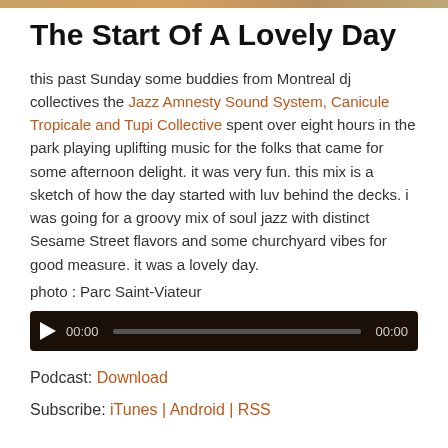The Start Of A Lovely Day
this past Sunday some buddies from Montreal dj collectives the Jazz Amnesty Sound System, Canicule Tropicale and Tupi Collective spent over eight hours in the park playing uplifting music for the folks that came for some afternoon delight. it was very fun. this mix is a sketch of how the day started with luv behind the decks. i was going for a groovy mix of soul jazz with distinct Sesame Street flavors and some churchyard vibes for good measure. it was a lovely day.
photo : Parc Saint-Viateur
[Figure (other): Audio player bar with play button, 00:00 timestamps, and progress track on dark background]
Podcast: Download
Subscribe: iTunes | Android | RSS